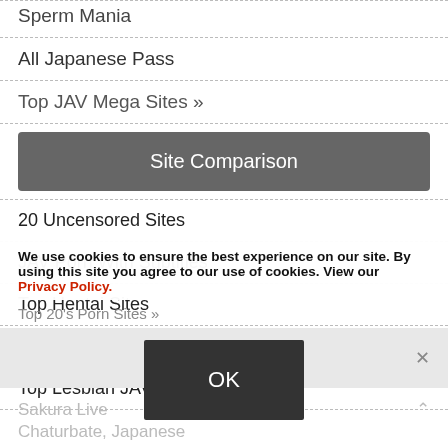Sperm Mania
All Japanese Pass
Top JAV Mega Sites »
Site Comparison
20 Uncensored Sites
JAV Porn With Subtitles
Top Hentai Sites
Top JAV VR Sites
Top Lesbian JAV Sites
Top 20's Porn Sites »
We use cookies to ensure the best experience on our site. By using this site you agree to our use of cookies. View our Privacy Policy.
Live Cams
Sakura Live
Chaturbate, Japanese